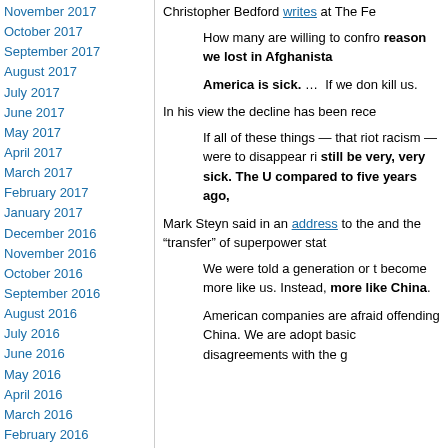November 2017
October 2017
September 2017
August 2017
July 2017
June 2017
May 2017
April 2017
March 2017
February 2017
January 2017
December 2016
November 2016
October 2016
September 2016
August 2016
July 2016
June 2016
May 2016
April 2016
March 2016
February 2016
January 2016
December 2015
November 2015
October 2015
September 2015
August 2015
July 2015
June 2015
May 2015
April 2015
Christopher Bedford writes at The Fe...
How many are willing to confro... reason we lost in Afghanista...
America is sick. … If we don... kill us.
In his view the decline has been rece...
If all of these things — that riot... racism — were to disappear ri... still be very, very sick. The U... compared to five years ago,
Mark Steyn said in an address to the... and the “transfer” of superpower stat...
We were told a generation or t... become more like us. Instead, more like China.
American companies are afraid... offending China. We are adopt... basic disagreements with the g...